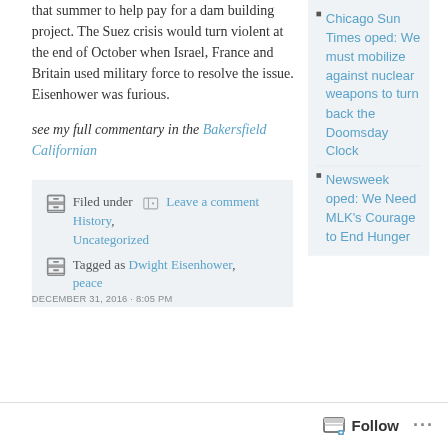that summer to help pay for a dam building project. The Suez crisis would turn violent at the end of October when Israel, France and Britain used military force to resolve the issue. Eisenhower was furious.
see my full commentary in the Bakersfield Californian
Filed under  Leave a comment History, Uncategorized  Tagged as Dwight Eisenhower, peace
Chicago Sun Times oped: We must mobilize against nuclear weapons to turn back the Doomsday Clock
Newsweek oped: We Need MLK's Courage to End Hunger
DECEMBER 31, 2016 · 8:05 PM